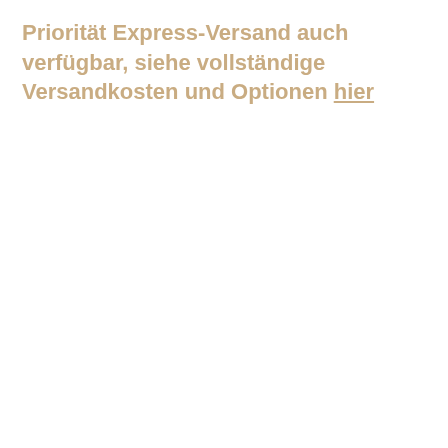Priorität Express-Versand auch verfügbar, siehe vollständige Versandkosten und Optionen hier